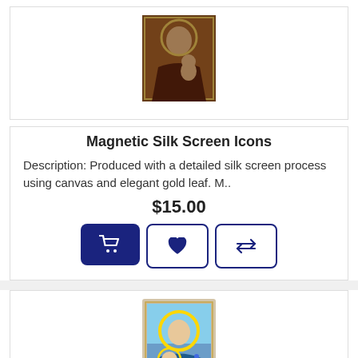[Figure (photo): Icon image of Madonna and Child in traditional Orthodox style with dark warm tones]
Magnetic Silk Screen Icons
Description: Produced with a detailed silk screen process using canvas and elegant gold leaf. M..
$15.00
[Figure (photo): Icon image of Mother of God Unfading Bloom - Mary holding baby Jesus with blue robes and golden halo]
Mother of God "Unfading Bloom" - БМ "Неувядаемый Цвет"
Описание: Икона Божией Матери "Неувядаемый